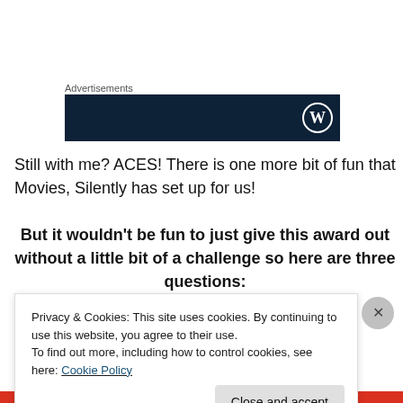Advertisements
[Figure (logo): Dark navy advertisement banner with WordPress logo on the right]
Still with me? ACES! There is one more bit of fun that Movies, Silently has set up for us!
But it wouldn't be fun to just give this award out without a little bit of a challenge so here are three questions:
Privacy & Cookies: This site uses cookies. By continuing to use this website, you agree to their use.
To find out more, including how to control cookies, see here: Cookie Policy
Close and accept